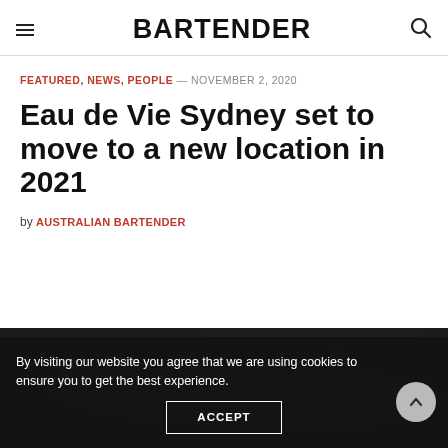BARTENDER
FEATURED, NEWS, PEOPLE — NOVEMBER 2, 2020
Eau de Vie Sydney set to move to a new location in 2021
by AUSTRALIAN BARTENDER
By visiting our website you agree that we are using cookies to ensure you to get the best experience.